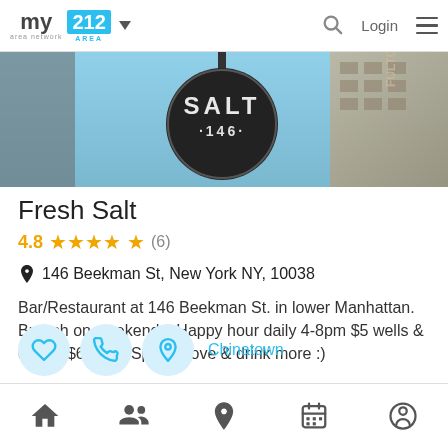my area network | 212 AREA | Login
[Figure (photo): Photo of Fresh Salt restaurant sign — large circular dark sign reading SALT 146, with building in background]
Fresh Salt
4.8 ★★★★★ (6)
146 Beekman St, New York NY, 10038
Bar/Restaurant at 146 Beekman St. in lower Manhattan. Brunch on weekends. Happy hour daily 4-8pm $5 wells & drafts, $6 wine. Spread love & drink more :)
Chinatown
Home | People | Location | Calendar | Profile